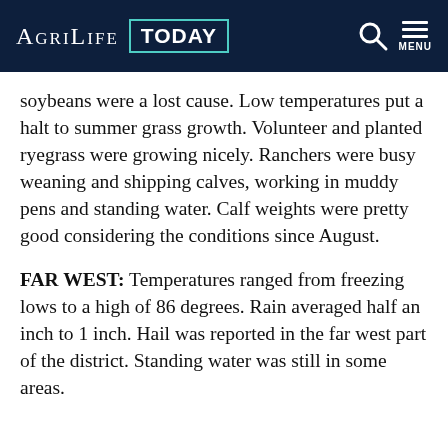AgriLife TODAY
soybeans were a lost cause. Low temperatures put a halt to summer grass growth. Volunteer and planted ryegrass were growing nicely. Ranchers were busy weaning and shipping calves, working in muddy pens and standing water. Calf weights were pretty good considering the conditions since August.
FAR WEST: Temperatures ranged from freezing lows to a high of 86 degrees. Rain averaged half an inch to 1 inch. Hail was reported in the far west part of the district. Standing water was still in some areas.